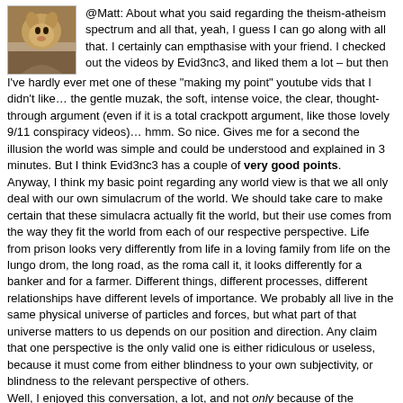[Figure (photo): Avatar image of a fox/dog animal photo, brownish tones]
@Matt: About what you said regarding the theism-atheism spectrum and all that, yeah, I guess I can go along with all that. I certainly can empthasise with your friend. I checked out the videos by Evid3nc3, and liked them a lot – but then I've hardly ever met one of these "making my point" youtube vids that I didn't like… the gentle muzak, the soft, intense voice, the clear, thought-through argument (even if it is a total crackpott argument, like those lovely 9/11 conspiracy videos)… hmm. So nice. Gives me for a second the illusion the world was simple and could be understood and explained in 3 minutes. But I think Evid3nc3 has a couple of very good points.
Anyway, I think my basic point regarding any world view is that we all only deal with our own simulacrum of the world. We should take care to make certain that these simulacra actually fit the world, but their use comes from the way they fit the world from each of our respective perspective. Life from prison looks very differently from life in a loving family from life on the lungo drom, the long road, as the roma call it, it looks differently for a banker and for a farmer. Different things, different processes, different relationships have different levels of importance. We probably all live in the same physical universe of particles and forces, but what part of that universe matters to us depends on our position and direction. Any claim that one perspective is the only valid one is either ridiculous or useless, because it must come from either blindness to your own subjectivity, or blindness to the relevant perspective of others.
Well, I enjoyed this conversation, a lot, and not only because of the attention I got and because I could troll you all so satisfyingly. ☺
Latcho drom, my friend, safe journeys.
[Figure (illustration): Avatar for Acolyte of Sagan: green and white checkered/diamond pattern on white background with border]
Acolyte of Sagan says:
August 25, 2011 at 1:40 pm
@Matt: Apology accepted, thank you. This is why I enjoy conversations with rational folk; misunderstandings are very...